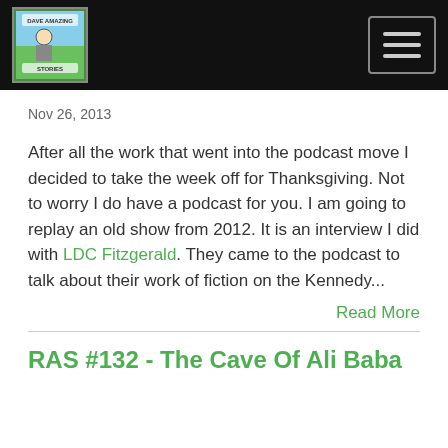[Figure (logo): Podcast logo with illustrated cartoon character on green background, top-left of header]
[Figure (other): Hamburger menu button with three horizontal lines, top-right of header]
Nov 26, 2013
After all the work that went into the podcast move I decided to take the week off for Thanksgiving. Not to worry I do have a podcast for you. I am going to replay an old show from 2012. It is an interview I did with LDC Fitzgerald. They came to the podcast to talk about their work of fiction on the Kennedy...
Read More
RAS #132 - The Cave Of Ali Baba